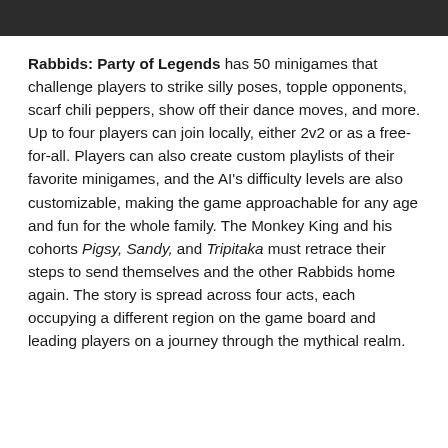Rabbids: Party of Legends has 50 minigames that challenge players to strike silly poses, topple opponents, scarf chili peppers, show off their dance moves, and more. Up to four players can join locally, either 2v2 or as a free-for-all. Players can also create custom playlists of their favorite minigames, and the AI's difficulty levels are also customizable, making the game approachable for any age and fun for the whole family. The Monkey King and his cohorts Pigsy, Sandy, and Tripitaka must retrace their steps to send themselves and the other Rabbids home again. The story is spread across four acts, each occupying a different region on the game board and leading players on a journey through the mythical realm.